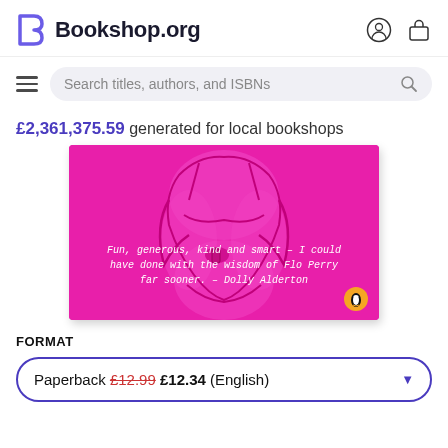Bookshop.org
Search titles, authors, and ISBNs
£2,361,375.59 generated for local bookshops
[Figure (illustration): Book cover on bright pink/magenta background showing an illustrated figure in lingerie. White italic text reads: 'Fun, generous, kind and smart – I could have done with the wisdom of Flo Perry far sooner.' – Dolly Alderton. Penguin logo in bottom right.]
FORMAT
Paperback £12.99 £12.34 (English)